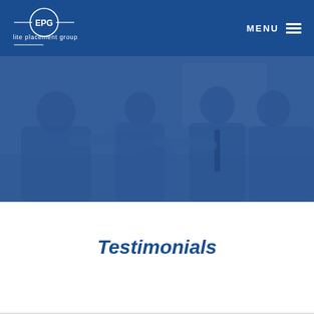elite placement group | MENU
[Figure (photo): Business professionals in a meeting room, two people shaking hands across a table while others look on, with a blue overlay tint]
Testimonials